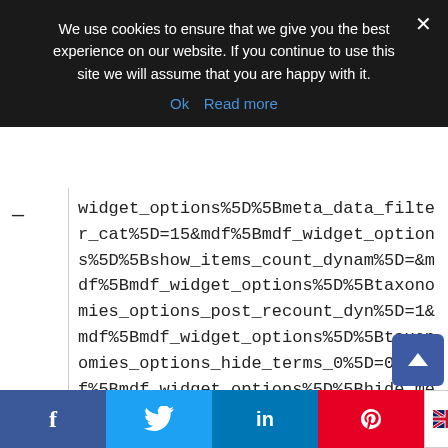We use cookies to ensure that we give you the best experience on our website. If you continue to use this site we will assume that you are happy with it.
Ok   Read more
— widget_options%5D%5Bmeta_data_filter_cat%5D=15&mdf%5Bmdf_widget_options%5D%5Bshow_items_count_dynam%5D=&mdf%5Bmdf_widget_options%5D%5Btaxonomies_options_post_recount_dyn%5D=1&mdf%5Bmdf_widget_options%5D%5Btaxonomies_options_hide_terms_0%5D=0&mdf%5Bmdf_widget_options%5D%5Bhide_me
[Figure (other): Scroll to top button (blue arrow up)]
[Figure (other): Social sharing bar with Facebook, Twitter, LinkedIn, Pinterest buttons and English language selector]